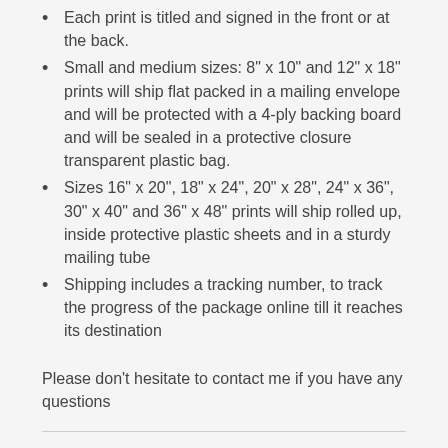Each print is titled and signed in the front or at the back.
Small and medium sizes: 8" x 10" and 12" x 18" prints will ship flat packed in a mailing envelope and will be protected with a 4-ply backing board and will be sealed in a protective closure transparent plastic bag.
Sizes 16" x 20", 18" x 24", 20" x 28", 24" x 36", 30" x 40" and 36" x 48" prints will ship rolled up, inside protective plastic sheets and in a sturdy mailing tube
Shipping includes a tracking number, to track the progress of the package online till it reaches its destination
Please don't hesitate to contact me if you have any questions